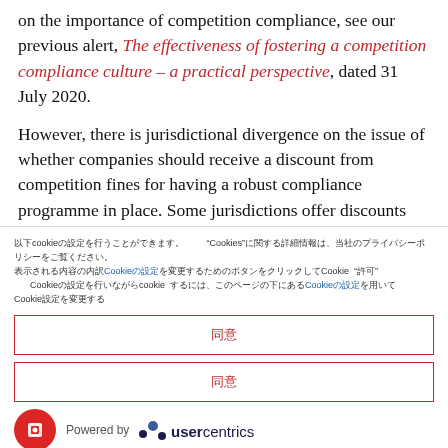on the importance of competition compliance, see our previous alert, The effectiveness of fostering a competition compliance culture – a practical perspective, dated 31 July 2020.
However, there is jurisdictional divergence on the issue of whether companies should receive a discount from competition fines for having a robust compliance programme in place. Some jurisdictions offer discounts
Cookie consent overlay with Japanese/Chinese characters referencing Cookie settings and preferences